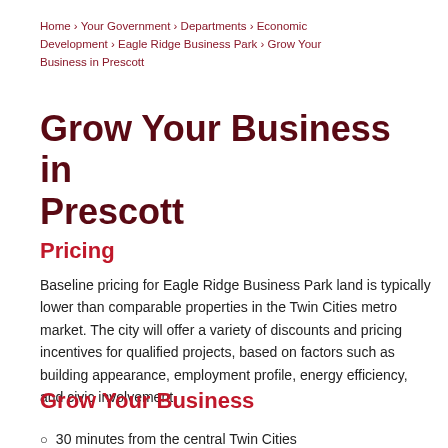Home › Your Government › Departments › Economic Development › Eagle Ridge Business Park › Grow Your Business in Prescott
Grow Your Business in Prescott
Pricing
Baseline pricing for Eagle Ridge Business Park land is typically lower than comparable properties in the Twin Cities metro market. The city will offer a variety of discounts and pricing incentives for qualified projects, based on factors such as building appearance, employment profile, energy efficiency, and civic involvement.
Grow Your Business
30 minutes from the central Twin Cities